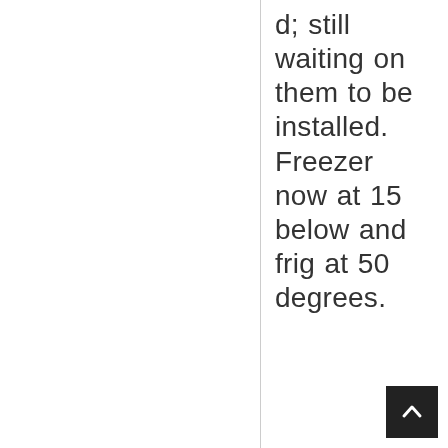d; still waiting on them to be installed. Freezer now at 15 below and frig at 50 degrees.